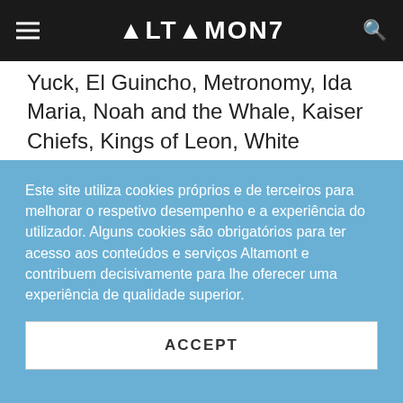ALTAMONT
Yuck, El Guincho, Metronomy, Ida Maria, Noah and the Whale, Kaiser Chiefs, Kings of Leon, White Stripes, Bombay Bicycle Club, Friendly Fires, The XX , Ariel Pink's Haunted Graffiti, Beach House, Broken Social Scene, Crystal Castles, Darwin Deez, Death Cab for Cutie, Deerhunter, Editors, Girls, Metronomy, Grizzly Bear, Black Rebel Motorcycle Club, I'm from Barcelona, Kaiser Chiefs, Late of the Pier, LCD Soundsystem, Los Hermanos, The Beatles, Foo Fighters, Nirvana, Pearl Jam, Soundgarden, Rage Against the Machine, The
Este site utiliza cookies próprios e de terceiros para melhorar o respetivo desempenho e a experiência do utilizador. Alguns cookies são obrigatórios para ter acesso aos conteúdos e serviços Altamont e contribuem decisivamente para lhe oferecer uma experiência de qualidade superior.
ACCEPT